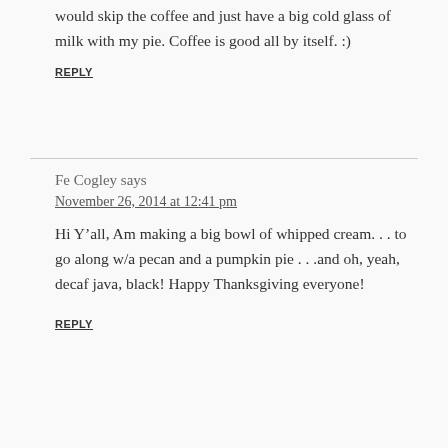would skip the coffee and just have a big cold glass of milk with my pie. Coffee is good all by itself. :)
REPLY
Fe Cogley says
November 26, 2014 at 12:41 pm
Hi Y’all, Am making a big bowl of whipped cream. . . to go along w/a pecan and a pumpkin pie . . .and oh, yeah, decaf java, black! Happy Thanksgiving everyone!
REPLY